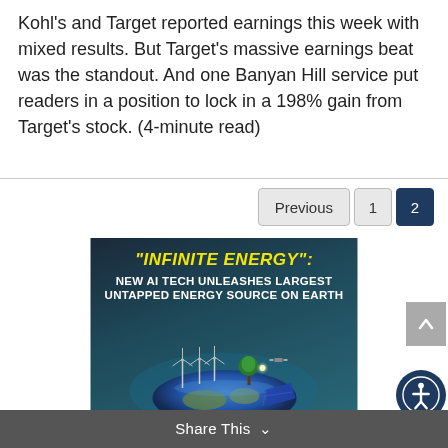Kohl's and Target reported earnings this week with mixed results. But Target's massive earnings beat was the standout. And one Banyan Hill service put readers in a position to lock in a 198% gain from Target's stock. (4-minute read)
[Figure (infographic): Advertisement banner: '"INFINITE ENERGY": NEW AI TECH UNLEASHES LARGEST UNTAPPED ENERGY SOURCE ON EARTH' with an illustration of a globe with wind turbines, solar panels, and a tree on top, set against a blue-teal gradient background.]
Share This ∨